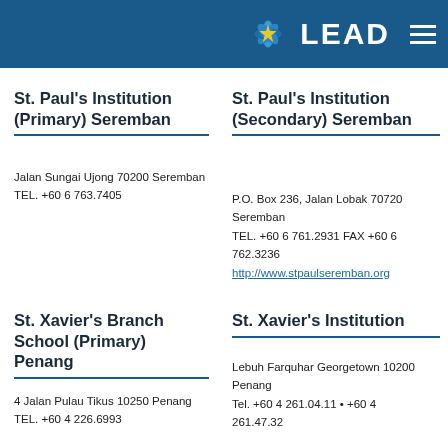LEAD
St. Paul's Institution (Primary) Seremban
Jalan Sungai Ujong 70200 Seremban
TEL. +60 6 763.7405
St. Paul's Institution (Secondary) Seremban
P.O. Box 236, Jalan Lobak 70720 Seremban
TEL. +60 6 761.2931 FAX +60 6 762.3236
http://www.stpaulseremban.org
St. Xavier's Branch School (Primary) Penang
4 Jalan Pulau Tikus 10250 Penang
TEL. +60 4 226.6993
St. Xavier's Institution
Lebuh Farquhar Georgetown 10200 Penang
Tel. +60 4 261.04.11 • +60 4 261.47.32